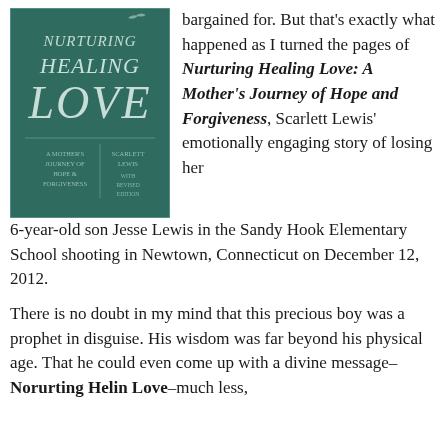[Figure (photo): Book cover of 'Nurturing Healing Love: A Mother's Journey of Hope and Forgiveness' by Scarlett Lewis, shown as a dark teal/green chalkboard-style cover with white chalked text.]
bargained for. But that's exactly what happened as I turned the pages of Nurturing Healing Love: A Mother's Journey of Hope and Forgiveness, Scarlett Lewis' emotionally engaging story of losing her 6-year-old son Jesse Lewis in the Sandy Hook Elementary School shooting in Newtown, Connecticut on December 12, 2012.
There is no doubt in my mind that this precious boy was a prophet in disguise. His wisdom was far beyond his physical age. That he could even come up with a divine message–Norurting Helin Love–much less,